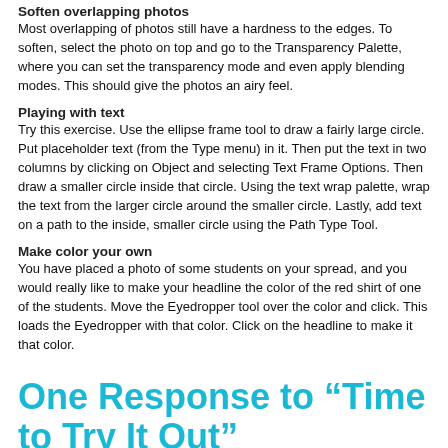Soften overlapping photos
Most overlapping of photos still have a hardness to the edges. To soften, select the photo on top and go to the Transparency Palette, where you can set the transparency mode and even apply blending modes. This should give the photos an airy feel.
Playing with text
Try this exercise. Use the ellipse frame tool to draw a fairly large circle. Put placeholder text (from the Type menu) in it. Then put the text in two columns by clicking on Object and selecting Text Frame Options. Then draw a smaller circle inside that circle. Using the text wrap palette, wrap the text from the larger circle around the smaller circle. Lastly, add text on a path to the inside, smaller circle using the Path Type Tool.
Make color your own
You have placed a photo of some students on your spread, and you would really like to make your headline the color of the red shirt of one of the students. Move the Eyedropper tool over the color and click. This loads the Eyedropper with that color. Click on the headline to make it that color.
One Response to “Time to Try It Out”
September 23, 2014 at 9:44 am, Aqurra Chisholm said: